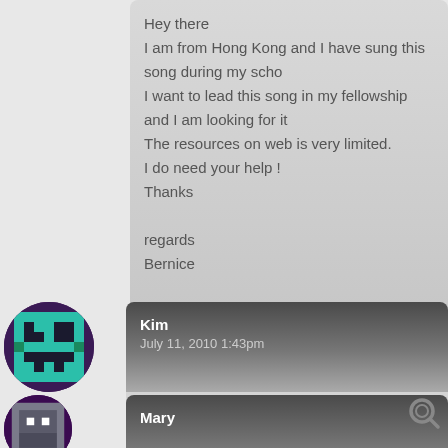Hey there
I am from Hong Kong and I have sung this song during my scho
I want to lead this song in my fellowship and I am looking for it
The resources on web is very limited.
I do need your help !
Thanks

regards
Bernice
[Figure (illustration): Pixel art avatar with teal and purple colors for user Kim]
Kim
July 11, 2010 1:43pm
Our homily at Mass yesterday was about the Good Samaritan &
Father John read the gospel we would likely sing this song as ou
homily. Sure enough, we sang it during Communion. Although i
came out of my mouth like yesterday. A very comforting hymn
[Figure (illustration): Pixel art avatar with purple and gray colors for user Mary]
Mary